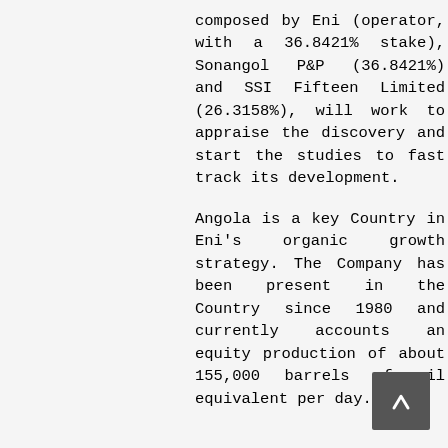composed by Eni (operator, with a 36.8421% stake), Sonangol P&P (36.8421%) and SSI Fifteen Limited (26.3158%), will work to appraise the discovery and start the studies to fast track its development.
Angola is a key Country in Eni's organic growth strategy. The Company has been present in the Country since 1980 and currently accounts an equity production of about 155,000 barrels of oil equivalent per day.